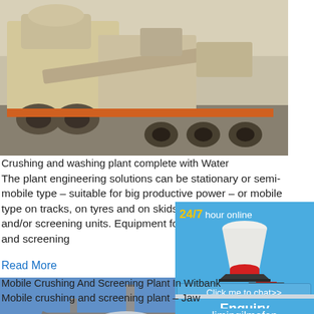[Figure (photo): Mobile crushing plant on wheeled chassis, beige/tan colored industrial machinery with orange accents]
Crushing and washing plant complete with Water
The plant engineering solutions can be stationary or semi-mobile type – suitable for big productive power – or mobile type on tracks, on tyres and on skids, equipped with crushing and/or screening units. Equipment for the a... g and screening
Read More
[Figure (photo): Industrial mobile crushing and screening plant structure with silos and conveyors against blue sky]
Mobile Crushing And Screening Plant In Witbank
Mobile crushing and screening plant – Jaw
[Figure (infographic): Advertisement sidebar: 24/7 hour online, cone crusher image, Click me to chat>>, Enquiry, limingjlmofen]